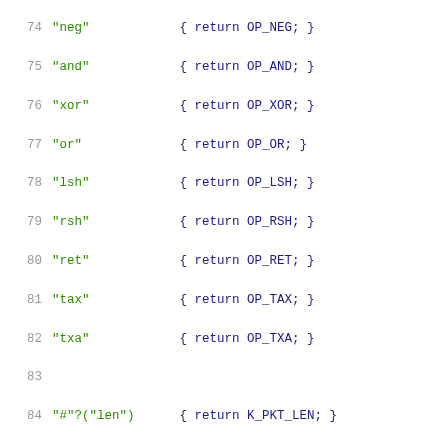Code listing lines 74-95, showing lexer rules with string patterns and return statements for opcodes and BPF extension keywords.